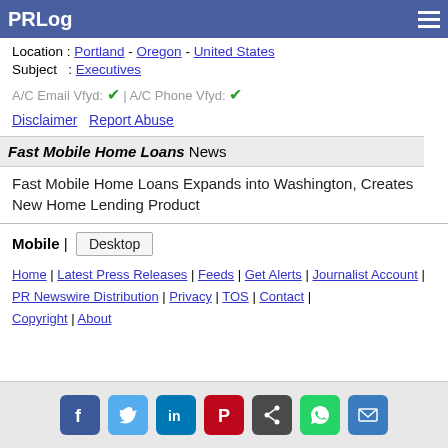PRLog
Location : Portland - Oregon - United States
Subject : Executives
A/C Email Vfyd: ✔ | A/C Phone Vfyd: ✔
Disclaimer   Report Abuse
Fast Mobile Home Loans News
Fast Mobile Home Loans Expands into Washington, Creates New Home Lending Product
Mobile | Desktop
Home | Latest Press Releases | Feeds | Get Alerts | Journalist Account | PR Newswire Distribution | Privacy | TOS | Contact | Copyright | About